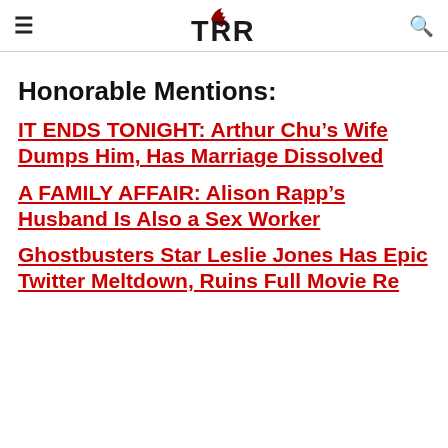TRR (logo with hamburger menu and search icon)
Honorable Mentions:
IT ENDS TONIGHT: Arthur Chu’s Wife Dumps Him, Has Marriage Dissolved
A FAMILY AFFAIR: Alison Rapp’s Husband Is Also a Sex Worker
Ghostbusters Star Leslie Jones Has Epic Twitter Meltdown, Ruins Full Movie Release